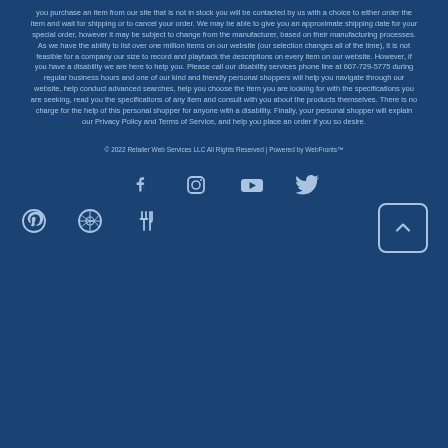you purchase an item from our site that is not in stock you will be contacted by us with a choice to either order the item and wait for shipping or to cancel your order. We may be able to give you an approximate shipping date for your special order, however it may be subject to change from the manufacturer, based on their manufacturing processes. As we have the ability to list over one million items on our website (our selection changes all of the time), it is not feasible for a company our size to record and playback the descriptions on every item on our website. However, if you have a disability we are here to help you. Please call our disability services phone line at 607-729-5775 during regular business hours and one of our kind and friendly personal shoppers will help you navigate through our website, help conduct advanced searches, help you choose the item you are looking for with the specifications you are seeking, read you the specifications of any item and consult with you about the products themselves. There is no charge for the help of this personal shopper for anyone with a disability. Finally, your personal shopper will explain our Privacy Policy and Terms of Service, and help you place an order if you so desire.
© 2022 Retailer Web Services LLC All Rights Reserved | Powered by WebFronts™
[Figure (other): Social media icons row 1: Facebook, Instagram, YouTube, Twitter]
[Figure (other): Social media icons row 2: Pinterest, WordPress, Utensils/Fork-knife icon, and a back-to-top button (chevron up)]